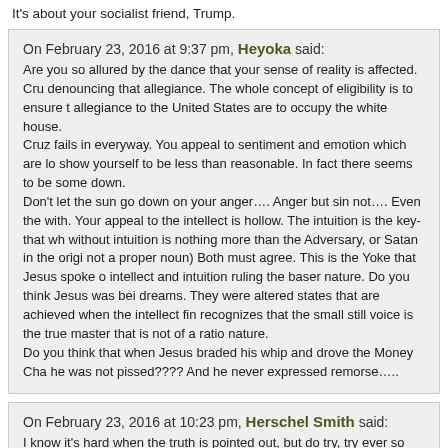It's about your socialist friend, Trump.
On February 23, 2016 at 9:37 pm, Heyoka said: Are you so allured by the dance that your sense of reality is affected. Cruz denouncing that allegiance. The whole concept of eligibility is to ensure that only those with allegiance to the United States are to occupy the white house. Cruz fails in everyway. You appeal to sentiment and emotion which are lo... show yourself to be less than reasonable. In fact there seems to be some... down. Don't let the sun go down on your anger.... Anger but sin not.... Even the... with. Your appeal to the intellect is hollow. The intuition is the key-that wh... without intuition is nothing more than the Adversary, or Satan in the origi... not a proper noun) Both must agree. This is the Yoke that Jesus spoke o... intellect and intuition ruling the baser nature. Do you think Jesus was bei... dreams. They were altered states that are achieved when the intellect fin... recognizes that the small still voice is the true master that is not of a ratio... nature. Do you think that when Jesus braded his whip and drove the Money Cha... he was not pissed???? And he never expressed remorse…..
On February 23, 2016 at 10:23 pm, Herschel Smith said: I know it's hard when the truth is pointed out, but do try, try ever so hard, Nothing else. That's what the article is about.
On February 25, 2016 at 12:46 pm, Marge S said: